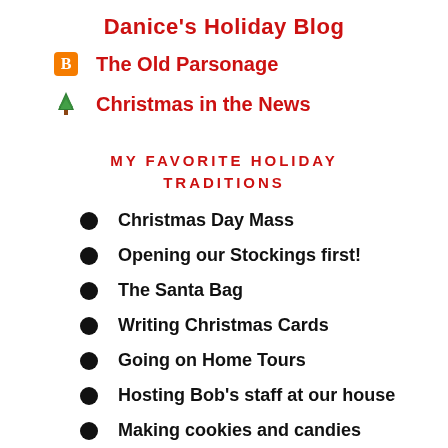Danice's Holiday Blog
The Old Parsonage
Christmas in the News
MY FAVORITE HOLIDAY TRADITIONS
Christmas Day Mass
Opening our Stockings first!
The Santa Bag
Writing Christmas Cards
Going on Home Tours
Hosting Bob's staff at our house
Making cookies and candies
Decorating my many trees